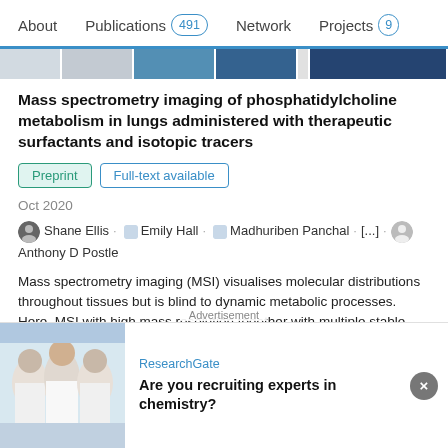About  Publications 491  Network  Projects 9
[Figure (photo): Thumbnail strip of publication preview images]
Mass spectrometry imaging of phosphatidylcholine metabolism in lungs administered with therapeutic surfactants and isotopic tracers
Preprint  Full-text available
Oct 2020
Shane Ellis · Emily Hall · Madhuriben Panchal · [...] · Anthony D Postle
Mass spectrometry imaging (MSI) visualises molecular distributions throughout tissues but is blind to dynamic metabolic processes. Here, MSI with high mass resolution together with multiple stable isotope labelling provided spatial analyses of phosphatidylcholine (PC) metabolism in mouse lungs. Dysregulated surfactant metabolism is central to many
[Figure (photo): Advertisement image showing lab researchers in white coats]
ResearchGate
Are you recruiting experts in chemistry?